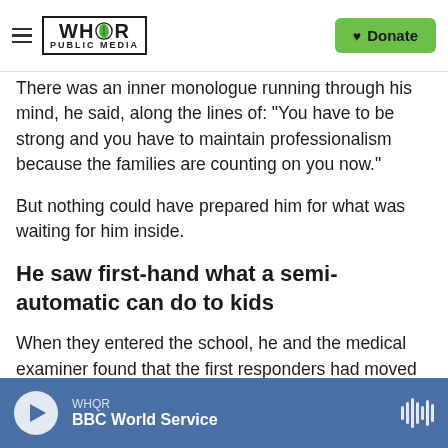WHQR PUBLIC MEDIA | Donate
There was an inner monologue running through his mind, he said, along the lines of: "You have to be strong and you have to maintain professionalism because the families are counting on you now."
But nothing could have prepared him for what was waiting for him inside.
He saw first-hand what a semi-automatic can do to kids
When they entered the school, he and the medical examiner found that the first responders had moved the bodies — separating the deceased from
WHQR | BBC World Service